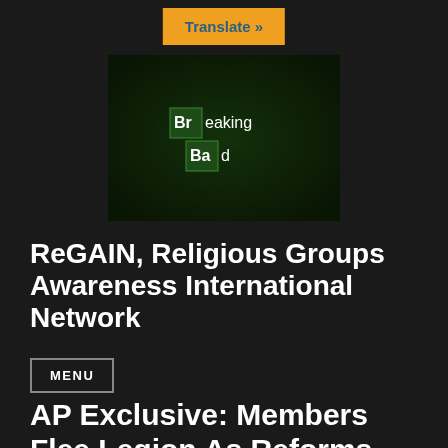Translate »
[Figure (screenshot): Breaking Bad TV show logo on dark green background with periodic table style letter boxes for 'Br' and 'Ba']
ReGAIN, Religious Groups Awareness International Network
MENU
AP Exclusive: Members Flee Legion As Reforms